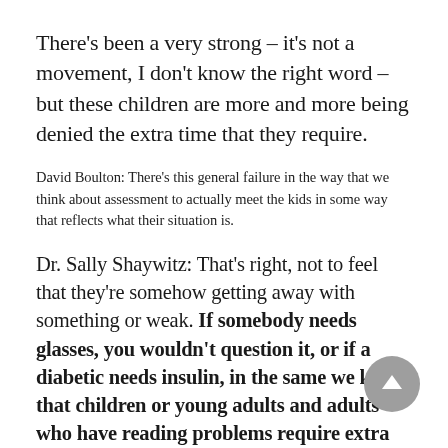There's been a very strong – it's not a movement, I don't know the right word – but these children are more and more being denied the extra time that they require.
David Boulton: There's this general failure in the way that we think about assessment to actually meet the kids in some way that reflects what their situation is.
Dr. Sally Shaywitz: That's right, not to feel that they're somehow getting away with something or weak. If somebody needs glasses, you wouldn't question it, or if a diabetic needs insulin, in the same we know that children or young adults and adults who have reading problems require extra time. For me, as a physician and as a scientist, one